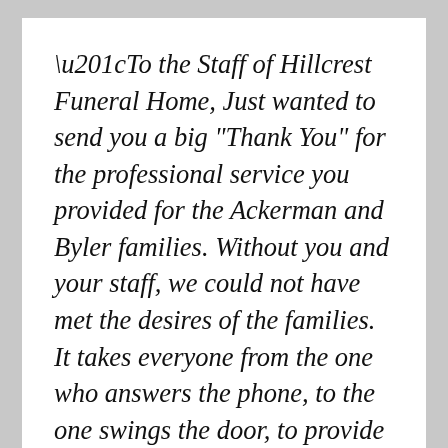“To the Staff of Hillcrest Funeral Home, Just wanted to send you a big "Thank You" for the professional service you provided for the Ackerman and Byler families. Without you and your staff, we could not have met the desires of the families. It takes everyone from the one who answers the phone, to the one swings the door, to provide services for the families we serve. Also, there is not enough gratitude being expressed these days. So, our staff says "Thank You" to your staff for a job well done, and we feel you brought some peace and comfort to the Ackerman and Byler